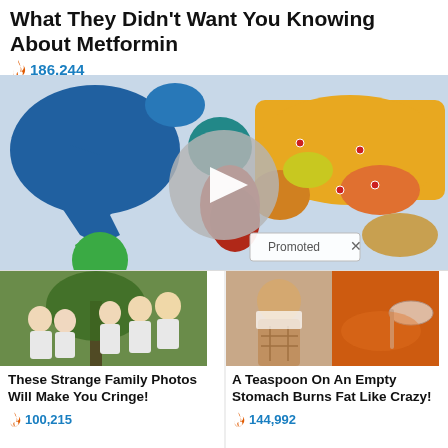What They Didn't Want You Knowing About Metformin
🔥 186,244
[Figure (map): World map with colored regions (blue for North America, green for South America, yellow/orange for Europe/Russia/Asia, red for Africa/Middle East) with a video play button overlay and 'Promoted' badge]
[Figure (photo): Family photo showing parents and teenage sons posing on a tree in white shirts and jeans]
These Strange Family Photos Will Make You Cringe!
🔥 100,215
[Figure (photo): Split image: woman lifting shirt showing abs on the left, pile of orange spice with a spoon on the right]
A Teaspoon On An Empty Stomach Burns Fat Like Crazy!
🔥 144,992